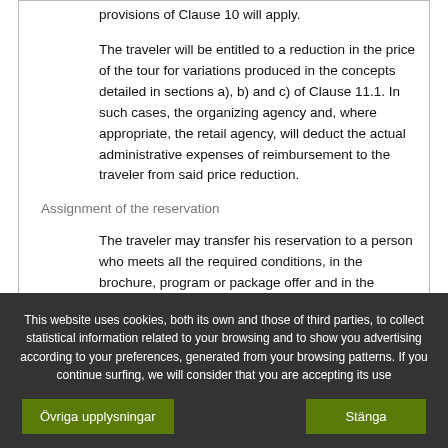provisions of Clause 10 will apply.
The traveler will be entitled to a reduction in the price of the tour for variations produced in the concepts detailed in sections a), b) and c) of Clause 11.1. In such cases, the organizing agency and, where appropriate, the retail agency, will deduct the actual administrative expenses of reimbursement to the traveler from said price reduction.
Assignment of the reservation
The traveler may transfer his reservation to a person who meets all the required conditions, in the brochure, program or package offer and in the contract, to carry out the package tour.
This website uses cookies, both its own and those of third parties, to collect statistical information related to your browsing and to show you advertising according to your preferences, generated from your browsing patterns. If you continue surfing, we will consider that you are accepting its use